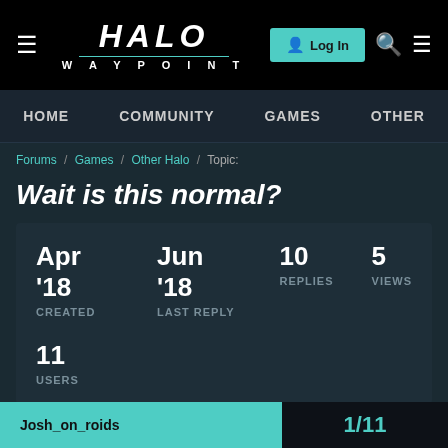[Figure (screenshot): Halo Waypoint website header with logo, Log In button, search and hamburger menu icons on black background]
HOME  COMMUNITY  GAMES  OTHER
Forums / Games / Other Halo / Topic:
Wait is this normal?
| CREATED | LAST REPLY | REPLIES | VIEWS |
| --- | --- | --- | --- |
| Apr '18 | Jun '18 | 10 | 5 |
| 11 USERS |  |  |  |
Josh_on_roids
1/11